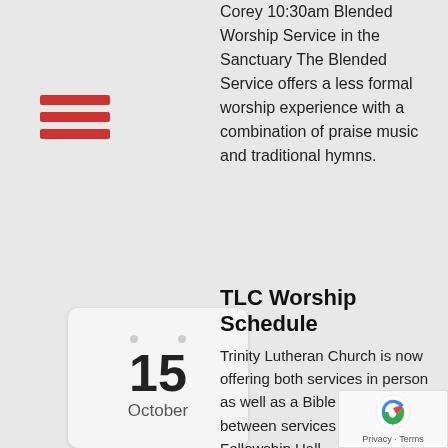[Figure (other): Hamburger menu icon with three horizontal red bars]
Corey 10:30am Blended Worship Service in the Sanctuary The Blended Service offers a less formal worship experience with a combination of praise music and traditional hymns.
[Figure (other): Calendar card showing 15 October]
TLC Worship Schedule
Trinity Lutheran Church is now offering both services in person as well as a Bible study between services in the Fellowship Hall. 8:00am    Traditional Worship Service in the Sanctuary Traditional Worship Service
8:00 am — 9:00 am
@ Trinity Lutheran